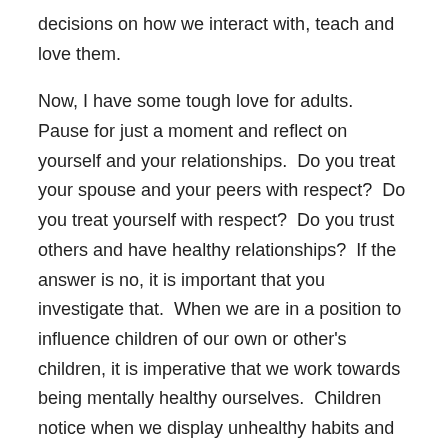decisions on how we interact with, teach and love them.

Now, I have some tough love for adults.  Pause for just a moment and reflect on yourself and your relationships.  Do you treat your spouse and your peers with respect?  Do you treat yourself with respect?  Do you trust others and have healthy relationships?  If the answer is no, it is important that you investigate that.  When we are in a position to influence children of our own or other's children, it is imperative that we work towards being mentally healthy ourselves.  Children notice when we display unhealthy habits and have unhealthy relationships.  They come to their own conclusions and that becomes part of their perception.  Their maturity level prevents them from understanding this subconscious process.  However, you and I are aware of how this works and we need to take responsibility for our own mental health so that we can positively affect our loved ones.  As you continue this